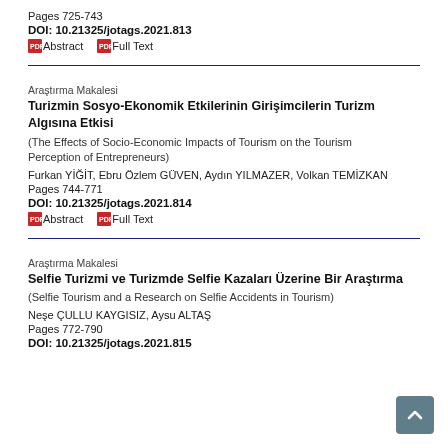Pages 725-743
DOI: 10.21325/jotags.2021.813
Abstract   Full Text
Araştırma Makalesi
Turizmin Sosyo-Ekonomik Etkilerinin Girişimcilerin Turizm Algısına Etkisi
(The Effects of Socio-Economic Impacts of Tourism on the Tourism Perception of Entrepreneurs)
Furkan YİĞİT, Ebru Özlem GÜVEN, Aydın YILMAZER, Volkan TEMİZKAN
Pages 744-771
DOI: 10.21325/jotags.2021.814
Abstract   Full Text
Araştırma Makalesi
Selfie Turizmi ve Turizmde Selfie Kazaları Üzerine Bir Araştırma
(Selfie Tourism and a Research on Selfie Accidents in Tourism)
Neşe ÇULLU KAYGISIZ, Aysu ALTAŞ
Pages 772-790
DOI: 10.21325/jotags.2021.815